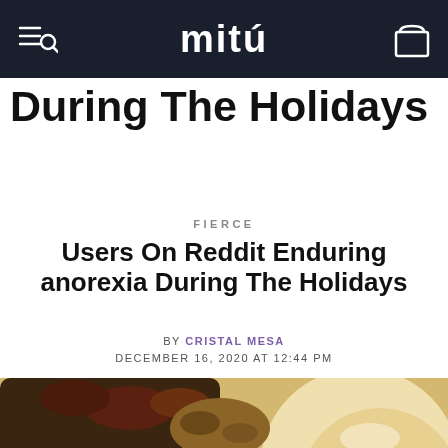mitú
During The Holidays
FIERCE
Users On Reddit Enduring anorexia During The Holidays
BY CRISTAL MESA DECEMBER 16, 2020 AT 12:44 PM
[Figure (photo): Close-up photo of a holiday meal plate with turkey slices, carrots, Brussels sprouts, cranberry sauce, stuffing, and bacon-wrapped items]